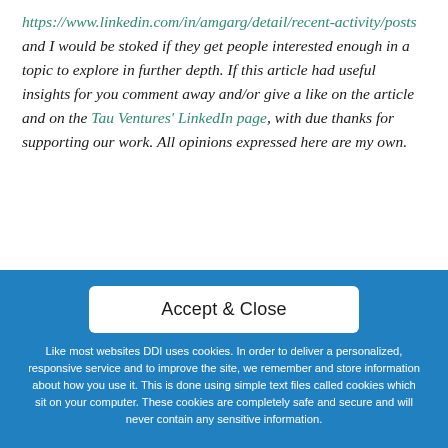https://www.linkedin.com/in/amgarg/detail/recent-activity/posts and I would be stoked if they get people interested enough in a topic to explore in further depth. If this article had useful insights for you comment away and/or give a like on the article and on the Tau Ventures' LinkedIn page, with due thanks for supporting our work. All opinions expressed here are my own.
Accept & Close
Like most websites DDI uses cookies. In order to deliver a personalized, responsive service and to improve the site, we remember and store information about how you use it. This is done using simple text files called cookies which sit on your computer. These cookies are completely safe and secure and will never contain any sensitive information.